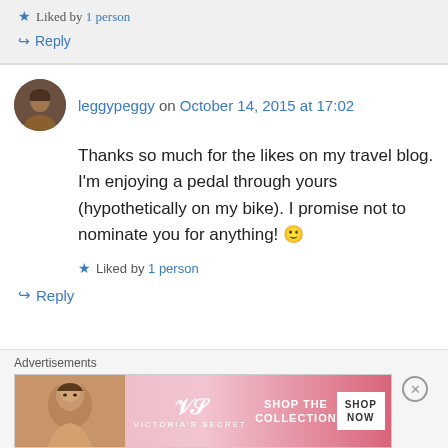★ Liked by 1 person
↪ Reply
leggypeggy on October 14, 2015 at 17:02
Thanks so much for the likes on my travel blog. I'm enjoying a pedal through yours (hypothetically on my bike). I promise not to nominate you for anything! 🙂
★ Liked by 1 person
↪ Reply
Advertisements
[Figure (photo): Victoria's Secret advertisement banner showing a model and text 'SHOP THE COLLECTION' with 'SHOP NOW' button]